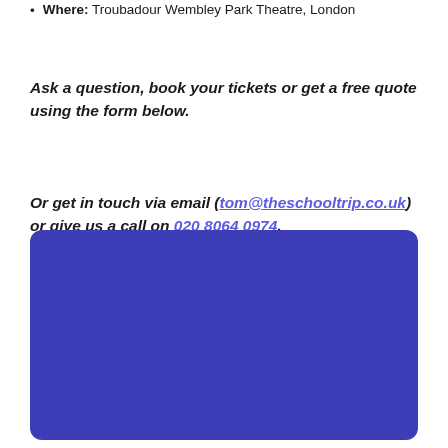Where: Troubadour Wembley Park Theatre, London
Ask a question, book your tickets or get a free quote using the form below.
Or get in touch via email (tom@theschooltrip.co.uk) or give us a call on 020 8064 0974.
[Figure (other): Blue/indigo rounded rectangle form area]